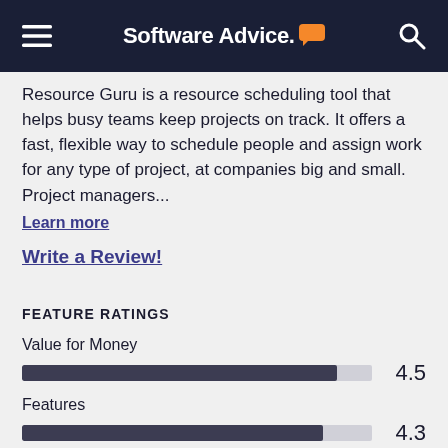Software Advice.
Resource Guru is a resource scheduling tool that helps busy teams keep projects on track. It offers a fast, flexible way to schedule people and assign work for any type of project, at companies big and small. Project managers...
Learn more
Write a Review!
FEATURE RATINGS
[Figure (bar-chart): FEATURE RATINGS]